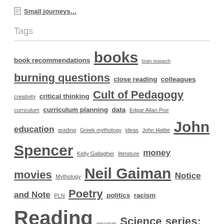Small journeys…
Tags
book recommendations books brain research burning questions close reading colleagues creativity critical thinking Cult of Pedagogy curriculum curriculum planning data Edgar Allan Poe education grading Greek mythology ideas John Hattie John Spencer Kelly Gallagher literature money movies Mythology Neil Gaiman Notice and Note PLN Poetry politics racism Reading resources Science series: elements of structure story telling teaching Technology theme themes thinking three teachers talk WIHWT writers Writing writing prompts